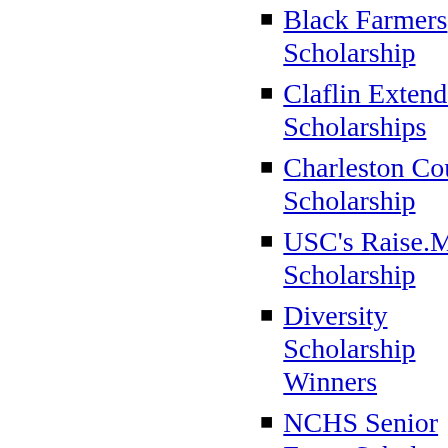Scholarship
Black Farmers Scholarship
Claflin Extends Scholarships
Charleston County Scholarship
USC's Raise.Me Scholarship
Diversity Scholarship Winners
NCHS Senior Earns Scholarship
NABJ Scholarship Recipients
Black Farmers Scholarships
Teen Lauded For Racial Studies
Social Innovation Challenge
NASA Minority STEM Grants
Magic Johnson